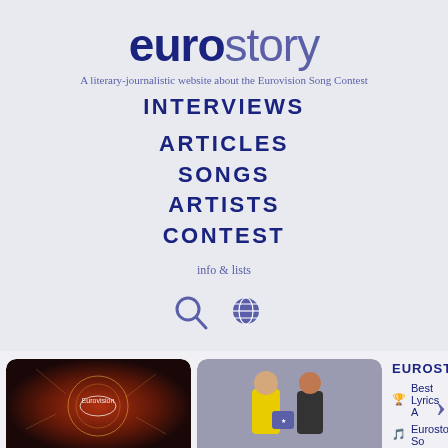eurostory
A literary-journalistic website about the Eurovision Song Contest
INTERVIEWS
ARTICLES
SONGS
ARTISTS
CONTEST
info & lists
[Figure (screenshot): Search icon and globe/language icon]
[Figure (photo): Eurovision 2022 logo/background image]
Everything about Eurovision 2022
[Figure (photo): Two people posing, one in yellow shirt holding an award]
Eurostory Best Lyrics Award 2022
EUROSTORY
Best Lyrics A...
Eurostory So...
Who we are...